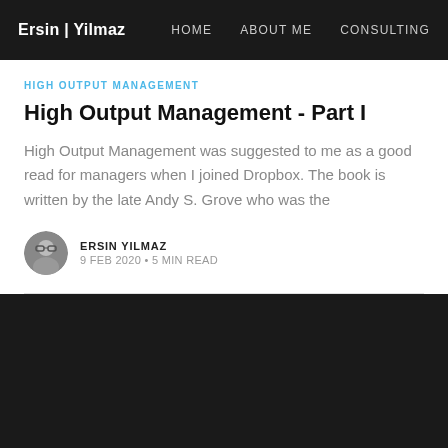Ersin | Yilmaz   HOME   ABOUT ME   CONSULTING
HIGH OUTPUT MANAGEMENT
High Output Management - Part I
High Output Management was suggested to me as a good read for managers when I joined Dropbox. The book is written by the late Andy S. Grove who was the
ERSIN YILMAZ
9 FEB 2020 · 5 MIN READ
Ersin | Yilmaz © 2022
Latest Posts · Twitter · Ghost